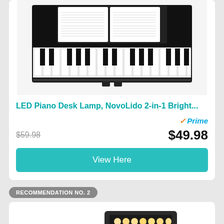[Figure (photo): Piano with open music sheet on top, black finish, front view]
LED Piano Desk Lamp, NovoLido 2-in-1 Bright...
Prime
$59.98 $49.98
View Here
RECOMMENDATION NO. 2
[Figure (photo): LED desk lamp with flexible gooseneck and flat rectangular light head showing warm LEDs]